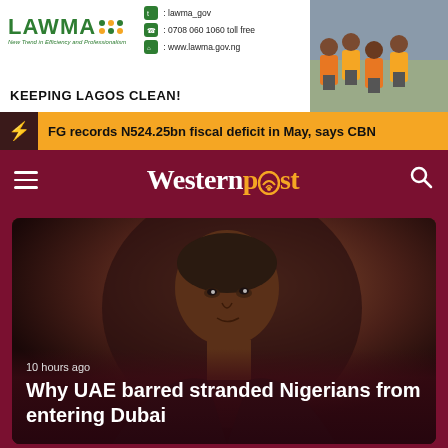[Figure (photo): LAWMA advertisement banner: LAWMA logo with green text and dots, tagline 'New Trend in Efficiency and Professionalism', contact info (lawma_gov twitter, 0708 060 1060 toll free, www.lawma.gov.ng), 'KEEPING LAGOS CLEAN!' text, and photo of workers in orange uniforms]
FG records N524.25bn fiscal deficit in May, says CBN
[Figure (logo): Western Post logo: 'Western' in white bold serif, 'post' in golden/orange color with ear icon replacing the 'o', on dark maroon background. Hamburger menu icon on left, search icon on right.]
[Figure (photo): Hero news image: close-up photo of a man (appears to be a Nigerian official) looking to the side. Dark, moody lighting.]
10 hours ago
Why UAE barred stranded Nigerians from entering Dubai